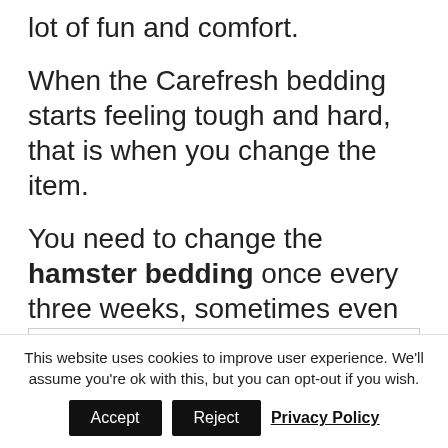lot of fun and comfort.
When the Carefresh bedding starts feeling tough and hard, that is when you change the item.
You need to change the hamster bedding once every three weeks, sometimes even four.
[Figure (other): Advertisement box with a green SALE badge in the top-right corner]
This website uses cookies to improve user experience. We'll assume you're ok with this, but you can opt-out if you wish. [Accept] [Reject] Privacy Policy